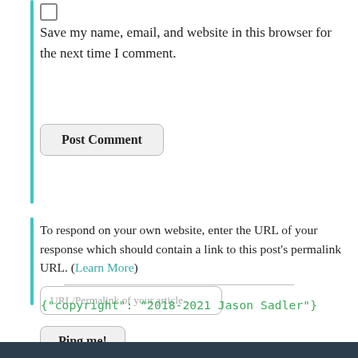Save my name, email, and website in this browser for the next time I comment.
Post Comment
To respond on your own website, enter the URL of your response which should contain a link to this post's permalink URL. (Learn More)
URL/Permalink of your article
Ping me!
{"copyright": "2018-2021 Jason Sadler"}